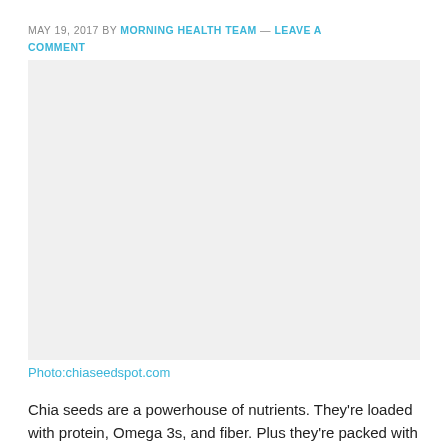MAY 19, 2017 BY MORNING HEALTH TEAM — LEAVE A COMMENT
[Figure (photo): Image placeholder area for chia seeds photo]
Photo:chiaseedspot.com
Chia seeds are a powerhouse of nutrients. They're loaded with protein, Omega 3s, and fiber. Plus they're packed with calcium,